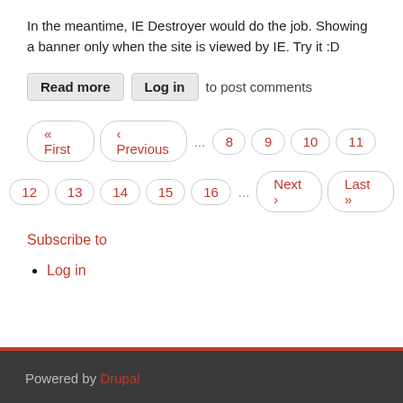In the meantime, IE Destroyer would do the job. Showing a banner only when the site is viewed by IE. Try it :D
Read more  Log in  to post comments
« First  ‹ Previous  ...  8  9  10  11  12  13  14  15  16  ...  Next ›  Last »
Subscribe to
Log in
Powered by Drupal